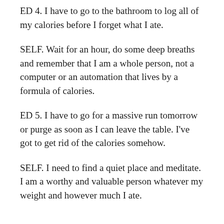ED 4. I have to go to the bathroom to log all of my calories before I forget what I ate.
SELF. Wait for an hour, do some deep breaths and remember that I am a whole person, not a computer or an automation that lives by a formula of calories.
ED 5. I have to go for a massive run tomorrow or purge as soon as I can leave the table. I've got to get rid of the calories somehow.
SELF. I need to find a quiet place and meditate. I am a worthy and valuable person whatever my weight and however much I ate.